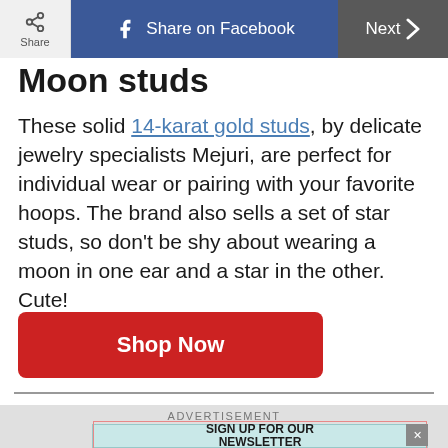Share | Share on Facebook | Next
Moon studs
These solid 14-karat gold studs, by delicate jewelry specialists Mejuri, are perfect for individual wear or pairing with your favorite hoops. The brand also sells a set of star studs, so don't be shy about wearing a moon in one ear and a star in the other. Cute!
Shop Now
ADVERTISEMENT
SIGN UP FOR OUR NEWSLETTER